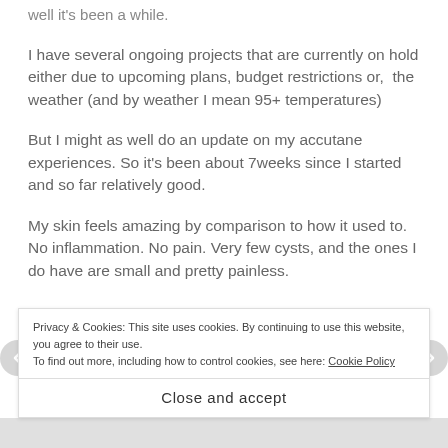well it's been a while.
I have several ongoing projects that are currently on hold either due to upcoming plans, budget restrictions or, the weather (and by weather I mean 95+ temperatures)
But I might as well do an update on my accutane experiences. So it's been about 7weeks since I started and so far relatively good.
My skin feels amazing by comparison to how it used to. No inflammation. No pain. Very few cysts, and the ones I do have are small and pretty painless.
Privacy & Cookies: This site uses cookies. By continuing to use this website, you agree to their use.
To find out more, including how to control cookies, see here: Cookie Policy
Close and accept